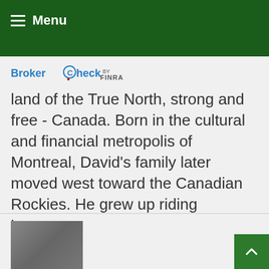Menu
[Figure (logo): BrokerCheck by FINRA logo — 'Broker' in blue bold, 'Check' with circular C mark in blue, 'by FINRA' in small gray text]
land of the True North, strong and free - Canada. Born in the cultural and financial metropolis of Montreal, David's family later moved west toward the Canadian Rockies. He grew up riding horses,...
Read more
[Figure (photo): Partial photograph at bottom left showing a person, partially visible]